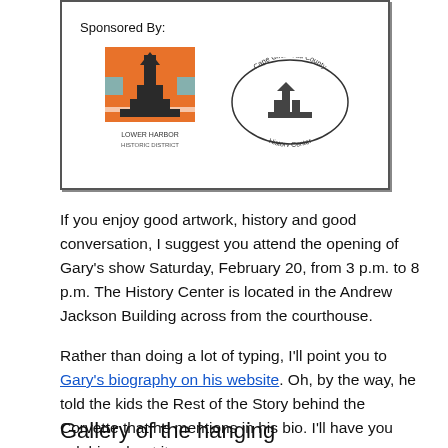[Figure (logo): Sponsor box with two logos: an orange square logo with a building/lighthouse illustration, and an oval logo reading 'Cape Girardeau County History Center' with a building illustration inside.]
If you enjoy good artwork, history and good conversation, I suggest you attend the opening of Gary's show Saturday, February 20, from 3 p.m. to 8 p.m. The History Center is located in the Andrew Jackson Building across from the courthouse.
Rather than doing a lot of typing, I'll point you to Gary's biography on his website. Oh, by the way, he told the kids the Rest of the Story behind the Corvette that he mentions in his bio. I'll have you ask him about it.
Gallery of the hanging